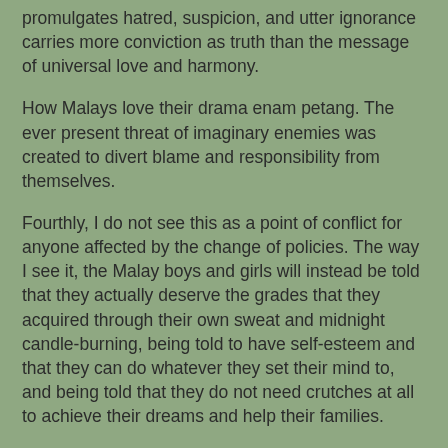promulgates hatred, suspicion, and utter ignorance carries more conviction as truth than the message of universal love and harmony.
How Malays love their drama enam petang. The ever present threat of imaginary enemies was created to divert blame and responsibility from themselves.
Fourthly, I do not see this as a point of conflict for anyone affected by the change of policies. The way I see it, the Malay boys and girls will instead be told that they actually deserve the grades that they acquired through their own sweat and midnight candle-burning, being told to have self-esteem and that they can do whatever they set their mind to, and being told that they do not need crutches at all to achieve their dreams and help their families.
The only people, who dramatise an otherwise positive move for all youths in this country alike, are people who feel threatened by the lack of dependence and growing confidence of the previously trodden majority, those who feels that to keep being relevant, they needed to bully and